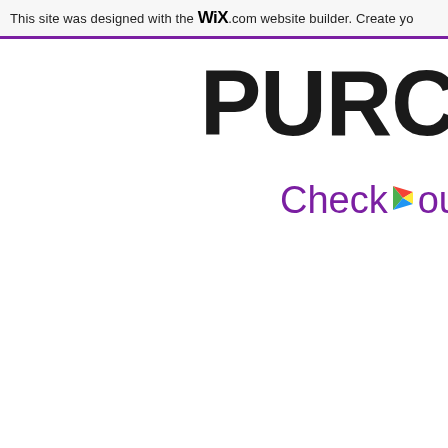This site was designed with the WiX.com website builder. Create yo
PURCHA
Checkout my